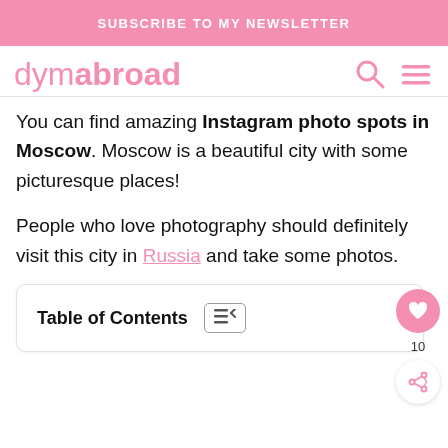SUBSCRIBE TO MY NEWSLETTER
[Figure (logo): dymabroad logo with search and menu icons]
You can find amazing Instagram photo spots in Moscow. Moscow is a beautiful city with some picturesque places!
People who love photography should definitely visit this city in Russia and take some photos.
Table of Contents